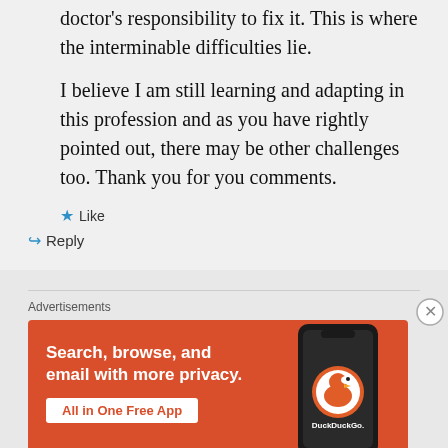doctor's responsibility to fix it. This is where the interminable difficulties lie.

I believe I am still learning and adapting in this profession and as you have rightly pointed out, there may be other challenges too. Thank you for you comments.
★ Like
↪ Reply
Advertisements
[Figure (illustration): DuckDuckGo advertisement banner with orange background showing a smartphone. Text reads: Search, browse, and email with more privacy. All in One Free App. DuckDuckGo logo visible.]